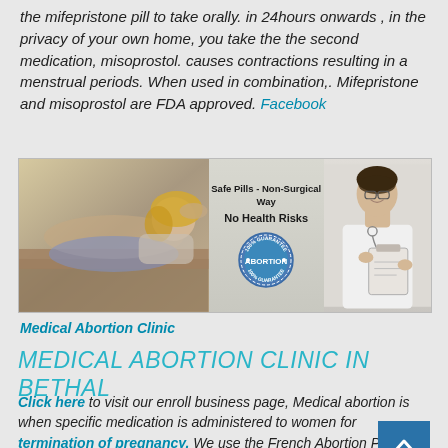the mifepristone pill to take orally. in 24hours onwards , in the privacy of your own home, you take the the second medication, misoprostol. causes contractions resulting in a menstrual periods. When used in combination,. Mifepristone and misoprostol are FDA approved. Facebook
[Figure (photo): Advertisement banner showing a woman reclining on a sofa on the left, text in the center reading 'Safe Pills - Non-Surgical Way No Health Risks' with a circular 'ABORTION 100% GUARANTEE' stamp, and a female doctor on the right holding a clipboard.]
Medical Abortion Clinic
MEDICAL ABORTION CLINIC IN BETHAL
Click here to visit our enroll business page, Medical abortion is when specific medication is administered to women for termination of pregnancy. We use the French Abortion Pill clinic. This specific medication is approved by the South African